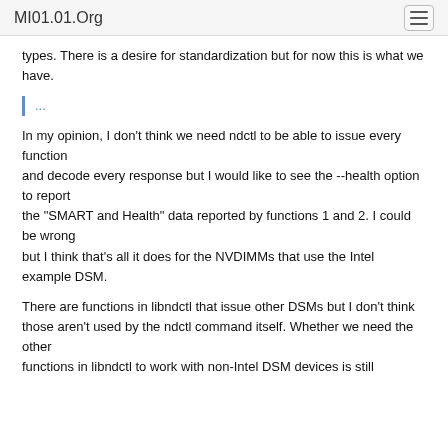MI01.01.Org
types. There is a desire for standardization but for now this is what we have.
...
In my opinion, I don't think we need ndctl to be able to issue every function
and decode every response but I would like to see the --health option to report
the "SMART and Health" data reported by functions 1 and 2. I could be wrong
but I think that's all it does for the NVDIMMs that use the Intel example DSM.
There are functions in libndctl that issue other DSMs but I don't think
those aren't used by the ndctl command itself. Whether we need the other
functions in libndctl to work with non-Intel DSM devices is still